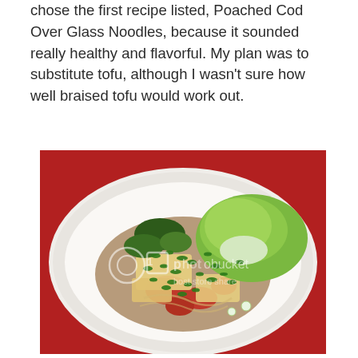chose the first recipe listed, Poached Cod Over Glass Noodles, because it sounded really healthy and flavorful. My plan was to substitute tofu, although I wasn't sure how well braised tofu would work out.
[Figure (photo): A white bowl on a red surface containing tofu pieces with chopped herbs (cilantro/green onions), bok choy, tomatoes, and a savory sauce — a dish resembling Poached Cod Over Glass Noodles made with tofu. The image has a Photobucket watermark.]